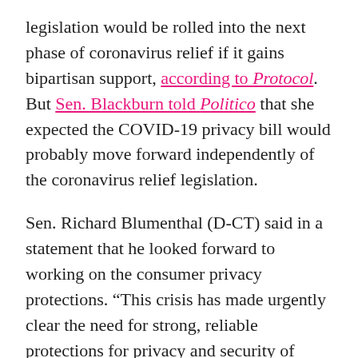legislation would be rolled into the next phase of coronavirus relief if it gains bipartisan support, according to Protocol. But Sen. Blackburn told Politico that she expected the COVID-19 privacy bill would probably move forward independently of the coronavirus relief legislation.
Sen. Richard Blumenthal (D-CT) said in a statement that he looked forward to working on the consumer privacy protections. “This crisis has made urgently clear the need for strong, reliable protections for privacy and security of personal data,” Blumenthal said. “As just one example, there is certainly a need for clear guardrails concerning information resulting from testing and contact tracing.”